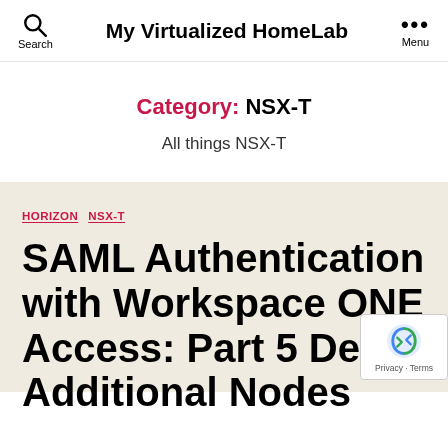My Virtualized HomeLab
Category: NSX-T
All things NSX-T
HORIZON  NSX-T
SAML Authentication with Workspace ONE Access: Part 5 Deploying Additional Nodes